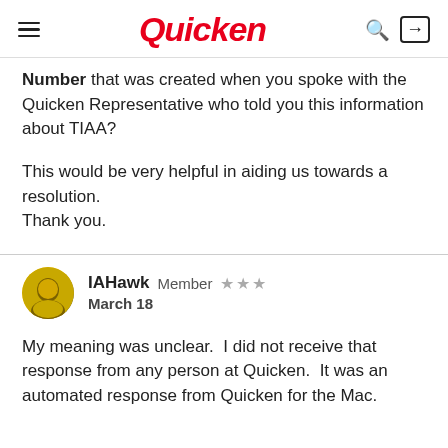Quicken
Number that was created when you spoke with the Quicken Representative who told you this information about TIAA?
This would be very helpful in aiding us towards a resolution.
Thank you.
IAHawk  Member  ★★★
March 18
My meaning was unclear.  I did not receive that response from any person at Quicken.  It was an automated response from Quicken for the Mac.